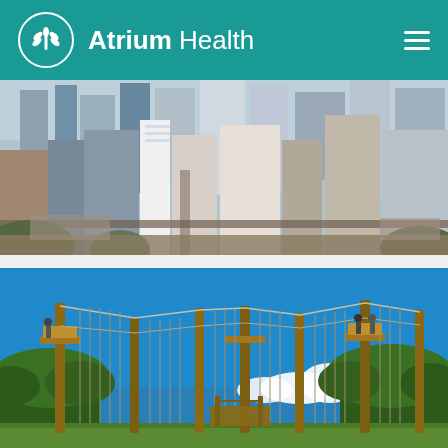Atrium Health
[Figure (photo): Aerial view of Charlotte city skyline with tall buildings and urban landscape, clear winter day]
[Figure (photo): Outdoor high ropes course with tall wooden poles connected by cables and ladders under a bright blue sky surrounded by trees]